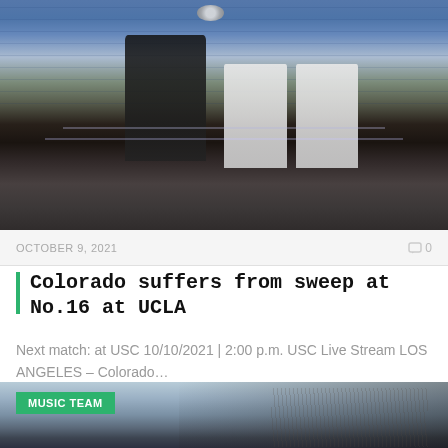[Figure (photo): Volleyball match photo: player in black uniform spiking ball over net, two UCLA players in white/blue uniforms attempting to block, blue stadium seats in background with masked spectators]
OCTOBER 9, 2021
0
Colorado suffers from sweep at No.16 at UCLA
Next match: at USC 10/10/2021 | 2:00 p.m. USC Live Stream LOS ANGELES – Colorado…
[Figure (photo): Stadium photo with MUSIC TEAM badge, partial view of stadium structure with roof lights against gray sky]